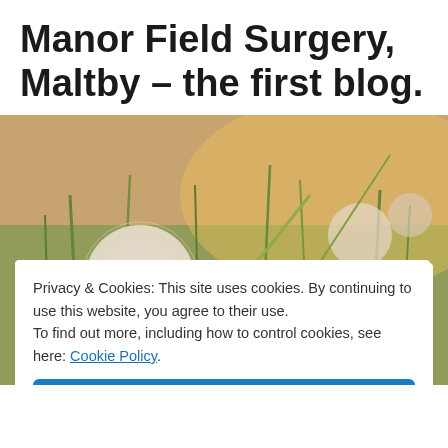Manor Field Surgery, Maltby – the first blog.
[Figure (photo): Close-up photograph of fluffy dandelion seed heads and tall grass in warm golden sunlight]
Privacy & Cookies: This site uses cookies. By continuing to use this website, you agree to their use. To find out more, including how to control cookies, see here: Cookie Policy
Close and accept